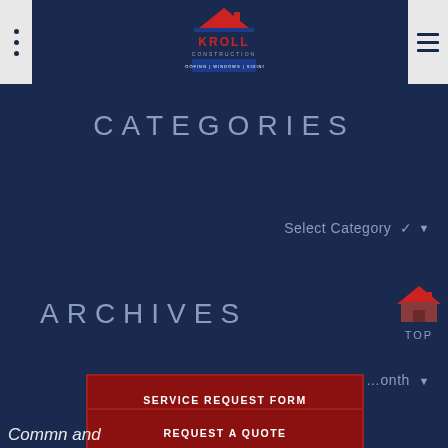[Figure (logo): Kroll Construction logo — house outline in red and blue, text 'KROLL CONSTRUCTION ROOFING | WINDOWS | SIDING']
CATEGORIES
Select Category ▾
ARCHIVES
[Figure (illustration): Red house/roof icon with 'TOP' label below]
...onth ▾
SERVICE REQUEST FORM
REQUEST A QUOTE
Comm...n and